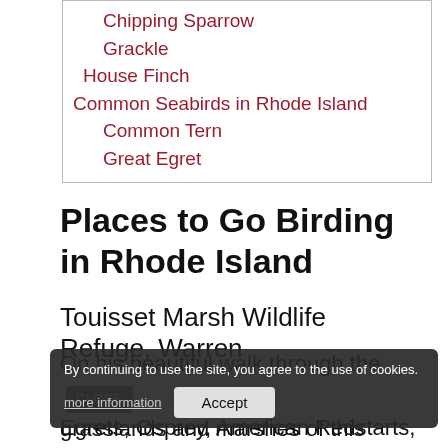Chipping Sparrow
Grackle
House Finch
Common Seabirds in Rhode Island
Common Tern
Great Egret
Places to Go Birding in Rhode Island
Touisset Marsh Wildlife Refuge, Warren
On his beautiful walk through the grasslands and marshes of this Audobhan reserve, you may see Eastern Bluebirds, American Woodcocks, Great Egrets, Osprey, American Redstarts, Common Yellowthroats, Indigo Buntings,